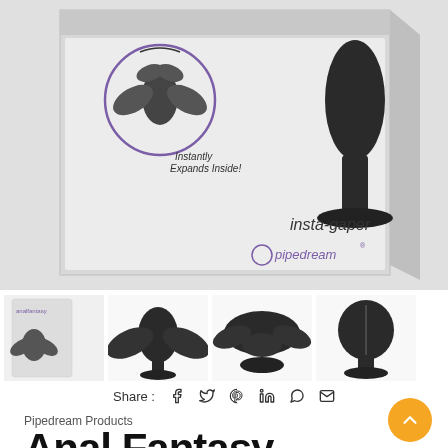[Figure (photo): Product packaging photo of Anal Fantasy Collection Insta-Gaper by Pipedream Products, showing box with product image and text 'insta-gaper pipedream' and 'Instantly Expands Inside!']
[Figure (photo): Four thumbnail product images: packaging box, front view of device open, top view open, side view closed]
Share :
Pipedream Products
Anal Fantasy Collection Insta-Gaper